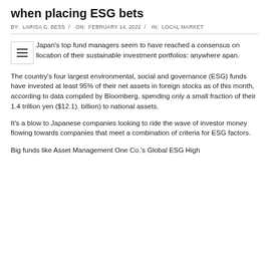when placing ESG bets
BY: LARISA G. BESS / ON: FEBRUARY 14, 2022 / IN: LOCAL MARKET
Japan's top fund managers seem to have reached a consensus on llocation of their sustainable investment portfolios: anywhere apan.
The country's four largest environmental, social and governance (ESG) funds have invested at least 95% of their net assets in foreign stocks as of this month, according to data compiled by Bloomberg, spending only a small fraction of their 1.4 trillion yen ($12.1). billion) to national assets.
It's a blow to Japanese companies looking to ride the wave of investor money flowing towards companies that meet a combination of criteria for ESG factors.
Big funds like Asset Management One Co.'s Global ESG High